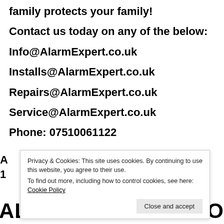family protects your family!
Contact us today on any of the below:
Info@AlarmExpert.co.uk
Installs@AlarmExpert.co.uk
Repairs@AlarmExpert.co.uk
Service@AlarmExpert.co.uk
Phone: 07510061122
Privacy & Cookies: This site uses cookies. By continuing to use this website, you agree to their use.
To find out more, including how to control cookies, see here: Cookie Policy
ALARM EXPERT SCOTLAND SCR